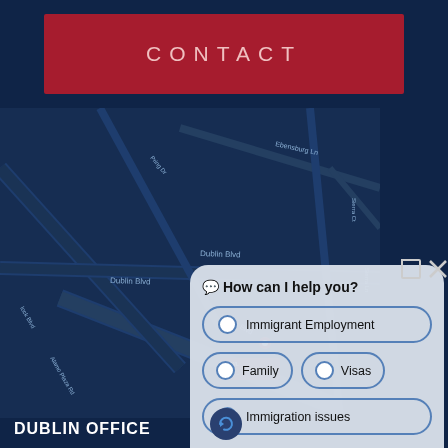CONTACT
[Figure (map): Street map showing Dublin Blvd area with roads including Ebensburg Ln, Dublin Blvd, Alamo Plaza Rd, dark navy blue styled map]
[Figure (screenshot): Chat widget overlay with question 'How can I help you?' and options: Immigrant Employment, Family, Visas, Immigration issues]
DUBLIN OFFICE